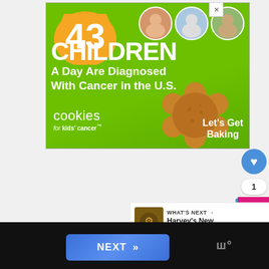[Figure (illustration): Advertisement for 'Cookies for Kids' Cancer' charity. Green background with orange blob showing '43', three circular photos of children, large white text reading '43 CHILDREN A Day Are Diagnosed With Cancer in the U.S.', Cookies for kids' cancer logo, cookie shape graphic, and 'Let's Get Baking' call to action.]
[Figure (screenshot): UI elements: blue heart/like button with count badge showing '1', pink up-arrow button, 'WHAT'S NEXT' panel with thumbnail and text 'Harvey's New Eyes Review...', bottom navigation bar with blue 'NEXT >>' button and logo.]